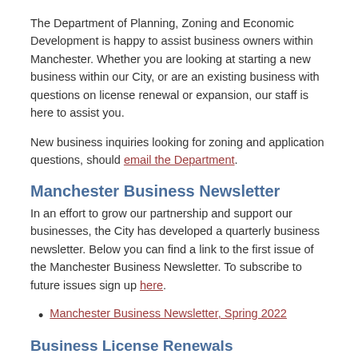The Department of Planning, Zoning and Economic Development is happy to assist business owners within Manchester. Whether you are looking at starting a new business within our City, or are an existing business with questions on license renewal or expansion, our staff is here to assist you.
New business inquiries looking for zoning and application questions, should email the Department.
Manchester Business Newsletter
In an effort to grow our partnership and support our businesses, the City has developed a quarterly business newsletter. Below you can find a link to the first issue of the Manchester Business Newsletter. To subscribe to future issues sign up here.
Manchester Business Newsletter, Spring 2022
Business License Renewals
Business License Renewal forms can be found here.